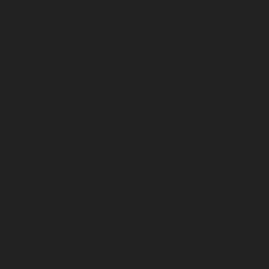deep survey of cataclysmic variables (CVs), which are one million times closer from the companion, reaches the sun a few degrees. The temperatures white dwarf and the X-rays that the s...
The NuSTAR survey ¾ that of the S average mass different populations the mass of the whether non-m counterparts.
So, why is this those that aren been gained th many theories lost in a therme evidence for a suggests that c...